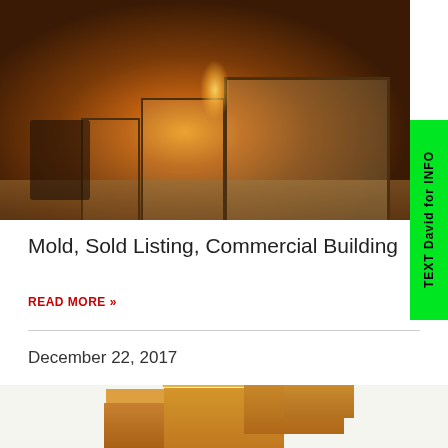[Figure (photo): Nighttime storefront of a commercial building on a brick-paved street, warmly lit with golden lights visible through large display windows]
Mold, Sold Listing, Commercial Building
READ MORE »
December 22, 2017
[Figure (photo): Stack of cardboard moving boxes, partially visible at bottom of page]